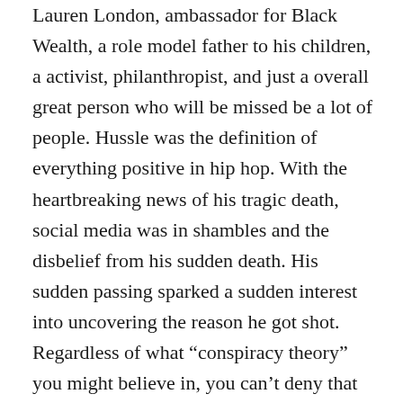Lauren London, ambassador for Black Wealth, a role model father to his children, a activist, philanthropist, and just a overall great person who will be missed be a lot of people. Hussle was the definition of everything positive in hip hop. With the heartbreaking news of his tragic death, social media was in shambles and the disbelief from his sudden death. His sudden passing sparked a sudden interest into uncovering the reason he got shot. Regardless of what “conspiracy theory” you might believe in, you can’t deny that he was the pure embodiment of the “Six Elements Of The Hip Hop Movement”. First created by one of the pioneers in hip-hop’s Public Enemy, these elements consist of Consciousness Awareness, Civil Rights Awareness, Activism Awareness, Justice, Political Awareness, and